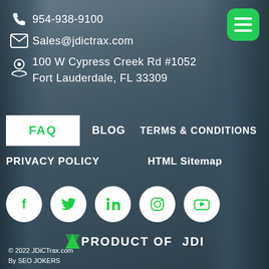954-938-9100
Sales@jdictrax.com
100 W Cypress Creek Rd #1052
Fort Lauderdale, FL 33309
FAQ
BLOG
TERMS & CONDITIONS
PRIVACY POLICY
HTML Sitemap
[Figure (infographic): Social media icons: Facebook, Twitter, LinkedIn, Instagram, YouTube in white circles]
PRODUCT OF JDI
© 2022 JDiCTrax.com
By SEO JOKERS